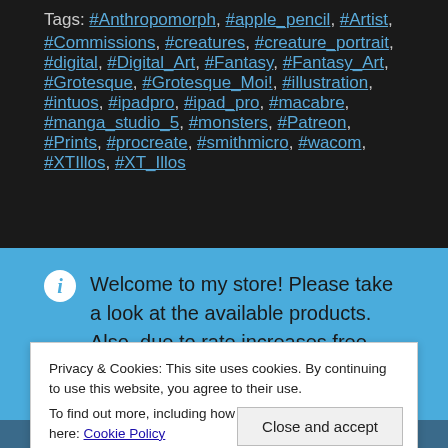Tags: #Anthropomorph, #apple_pencil, #Artist, #Commissions, #creatures, #creature_portrait, #digital, #Digital_Art, #Fantasy, #Fantasy_Art, #Grotesque, #Grotesque_Moi!, #illustration, #intuos, #ipadpro, #ipad_pro, #macabre, #manga_studio_5, #monsters, #Patreon, #Prints, #procreate, #smithmicro, #wacom, #XTIllos, #XT_Illos
Welcome to my store! Please take a look at the available products. Also, due to rate increases free shipping is no longer available for US customers. Thank
Privacy & Cookies: This site uses cookies. By continuing to use this website, you agree to their use. To find out more, including how to control cookies, see here: Cookie Policy
Close and accept